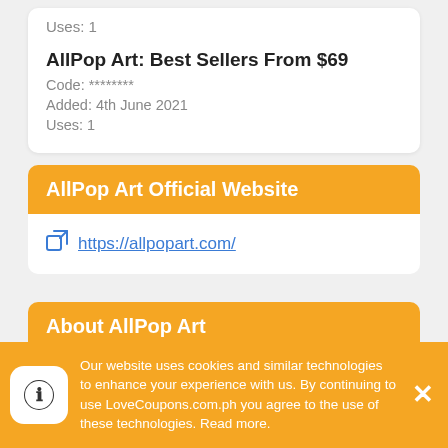Uses: 1
AllPop Art: Best Sellers From $69
Code: ********
Added: 4th June 2021
Uses: 1
AllPop Art Official Website
https://allpopart.com/
About AllPop Art
Our website uses cookies and similar technologies to enhance your experience with us. By continuing to use LoveCoupons.com.ph you agree to the use of these technologies. Read more.